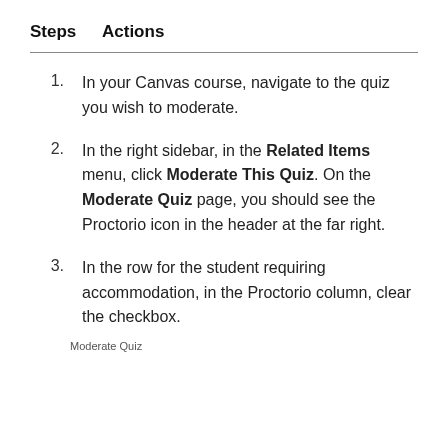| Steps | Actions |
| --- | --- |
| 1. | In your Canvas course, navigate to the quiz you wish to moderate. |
| 2. | In the right sidebar, in the Related Items menu, click Moderate This Quiz. On the Moderate Quiz page, you should see the Proctorio icon in the header at the far right. |
| 3. | In the row for the student requiring accommodation, in the Proctorio column, clear the checkbox. |
Moderate Quiz